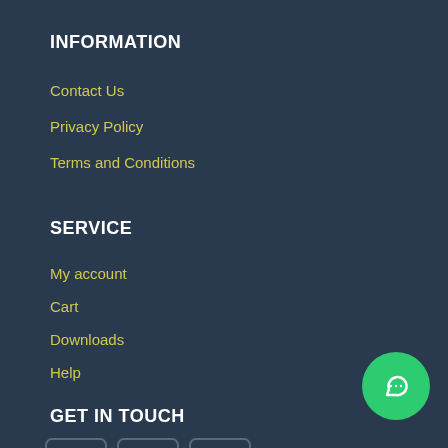INFORMATION
Contact Us
Privacy Policy
Terms and Conditions
SERVICE
My account
Cart
Downloads
Help
GET IN TOUCH
[Figure (infographic): Social media icons: Facebook, WhatsApp, Email in rounded square boxes; plus a floating WhatsApp green circle button in bottom right]
[Figure (other): Green circle WhatsApp floating button bottom right]